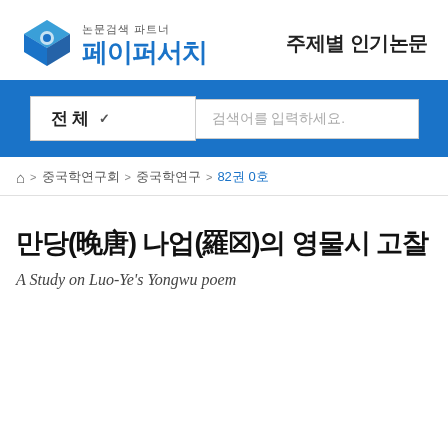[Figure (logo): PaperSearch logo with blue geometric diamond/cube icon and Korean text 페이퍼서치 with subtitle 논문검색 파트너]
주제별 인기논문
전체 ✓  검색어를 입력하세요.
🏠 > 중국학연구회 > 중국학연구 > 82권 0호
만당(晚唐) 나업(羅⊠)의 영물시 고찰
A Study on Luo-Ye's Yongwu poem